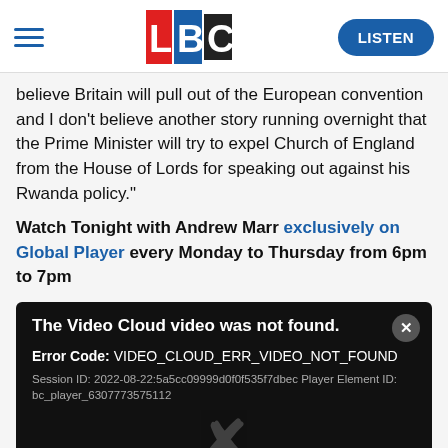LBC — LISTEN
believe Britain will pull out of the European convention and I don't believe another story running overnight that the Prime Minister will try to expel Church of England from the House of Lords for speaking out against his Rwanda policy."
Watch Tonight with Andrew Marr exclusively on Global Player every Monday to Thursday from 6pm to 7pm
[Figure (screenshot): Video error dialog on black background: 'The Video Cloud video was not found.' Error Code: VIDEO_CLOUD_ERR_VIDEO_NOT_FOUND. Session ID: 2022-08-22:5a5cc09999d0f0f535f7dbec Player Element ID: bc_player_6307773575112. Large grey X in center.]